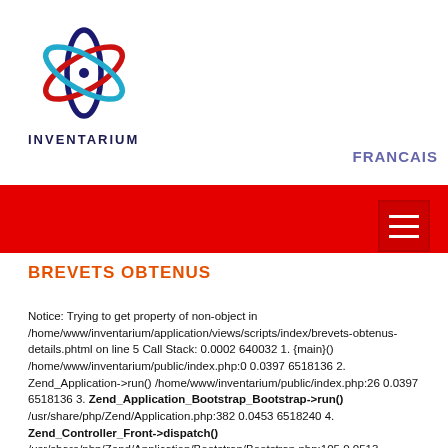[Figure (logo): Inventarium logo with atomic/orbital graphic in blue, red, and cyan, with text INVENTARIUM below]
FRANCAIS
[Figure (other): Red navigation bar with hamburger menu icon on the right]
BREVETS OBTENUS
Notice: Trying to get property of non-object in /home/www/inventarium/application/views/scripts/index/brevets-obtenus-details.phtml on line 5 Call Stack: 0.0002 640032 1. {main}() /home/www/inventarium/public/index.php:0 0.0397 6518136 2. Zend_Application->run() /home/www/inventarium/public/index.php:26 0.0397 6518136 3. Zend_Application_Bootstrap_Bootstrap->run() /usr/share/php/Zend/Application.php:382 0.0453 6518240 4. Zend_Controller_Front->dispatch() /usr/share/php/Zend/Application/Bootstrap/Bootstrap.php:105 0.0513